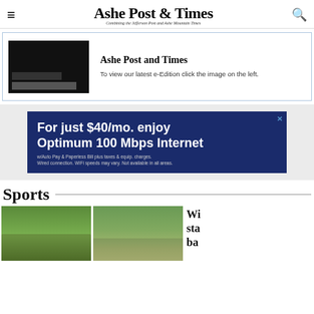Ashe Post & Times — Combining the Jefferson Post and Ashe Mountain Times
[Figure (screenshot): e-Edition thumbnail placeholder showing dark bars]
Ashe Post and Times
To view our latest e-Edition click the image on the left.
[Figure (photo): Advertisement: For just $40/mo. enjoy Optimum 100 Mbps Internet. w/Auto Pay & Paperless Bill plus taxes & equip. charges. Wired connection. WiFi speeds may vary. Not available in all areas.]
Sports
[Figure (photo): Sports photo 1: group of athletes huddled on a green grass field]
[Figure (photo): Sports photo 2: group of people near a fence outdoors]
Wi sta ba